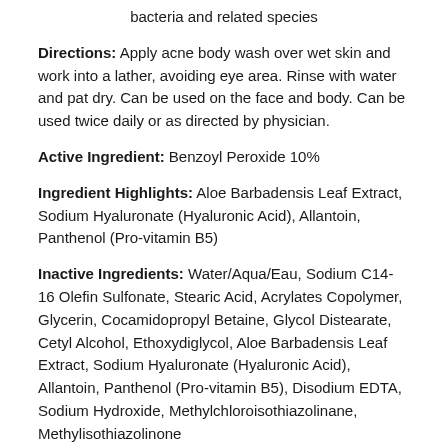bacteria and related species
Directions: Apply acne body wash over wet skin and work into a lather, avoiding eye area. Rinse with water and pat dry. Can be used on the face and body. Can be used twice daily or as directed by physician.
Active Ingredient: Benzoyl Peroxide 10%
Ingredient Highlights: Aloe Barbadensis Leaf Extract, Sodium Hyaluronate (Hyaluronic Acid), Allantoin, Panthenol (Pro-vitamin B5)
Inactive Ingredients: Water/Aqua/Eau, Sodium C14-16 Olefin Sulfonate, Stearic Acid, Acrylates Copolymer, Glycerin, Cocamidopropyl Betaine, Glycol Distearate, Cetyl Alcohol, Ethoxydiglycol, Aloe Barbadensis Leaf Extract, Sodium Hyaluronate (Hyaluronic Acid), Allantoin, Panthenol (Pro-vitamin B5), Disodium EDTA, Sodium Hydroxide, Methylchloroisothiazolinane, Methylisothiazolinone